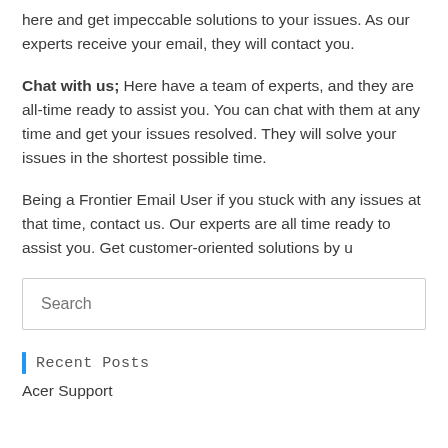here and get impeccable solutions to your issues. As our experts receive your email, they will contact you.
Chat with us; Here have a team of experts, and they are all-time ready to assist you. You can chat with them at any time and get your issues resolved. They will solve your issues in the shortest possible time.
Being a Frontier Email User if you stuck with any issues at that time, contact us. Our experts are all time ready to assist you. Get customer-oriented solutions by u
Search
Recent Posts
Acer Support